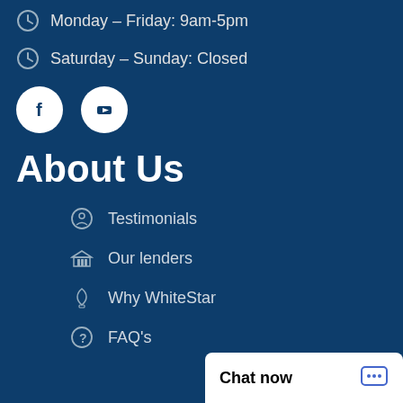Monday – Friday: 9am-5pm
Saturday – Sunday: Closed
[Figure (illustration): Social media icons: Facebook and YouTube circles]
About Us
Testimonials
Our lenders
Why WhiteStar
FAQ's
Chat now